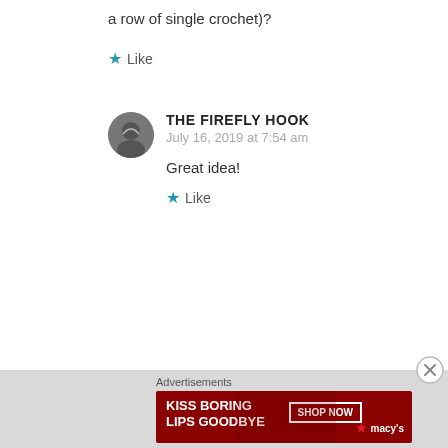a row of single crochet)?
Like
THE FIREFLY HOOK
July 16, 2019 at 7:54 am
Great idea!
Like
Advertisements
[Figure (illustration): Advertisement banner for Macy's lipstick promotion reading KISS BORING LIPS GOODBYE with SHOP NOW button and Macy's star logo]